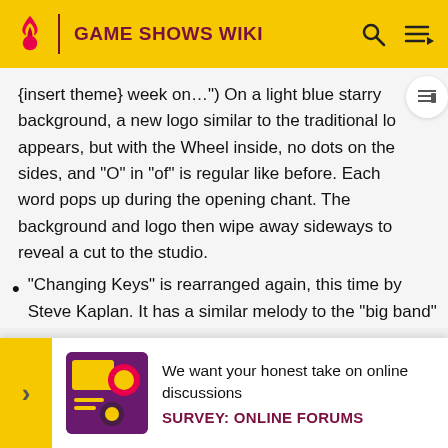GAME SHOWS WIKI
{insert theme} week on..."} On a light blue starry background, a new logo similar to the traditional lo appears, but with the Wheel inside, no dots on the sides, and "O" in "of" is regular like before. Each word pops up during the opening chant. The background and logo then wipe away sideways to reveal a cut to the studio.
"Changing Keys" is rearranged again, this time by Steve Kaplan. It has a similar melody to the "big band" version, but a faster tempo and electric guitar solo. In addition, there is now opening music before the
We want your honest take on online discussions
SURVEY: ONLINE FORUMS